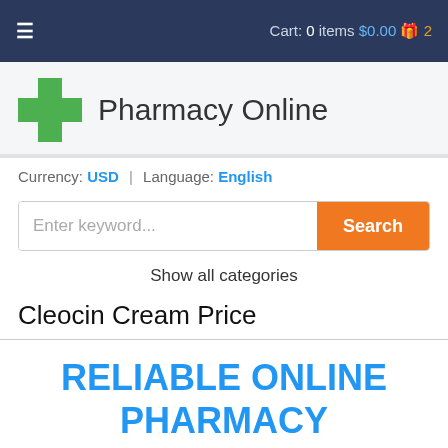Cart: 0 items $0.00 2
Pharmacy Online
Currency: USD | Language: English
Enter keyword...
Show all categories
Cleocin Cream Price
RELIABLE ONLINE PHARMACY
> Click here to order now